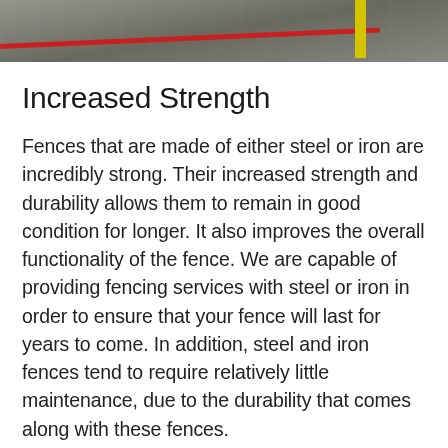[Figure (photo): A top-down or angled photo of a paved surface area, possibly a parking lot or road, with a red line and a yellow post visible.]
Increased Strength
Fences that are made of either steel or iron are incredibly strong. Their increased strength and durability allows them to remain in good condition for longer. It also improves the overall functionality of the fence. We are capable of providing fencing services with steel or iron in order to ensure that your fence will last for years to come. In addition, steel and iron fences tend to require relatively little maintenance, due to the durability that comes along with these fences.